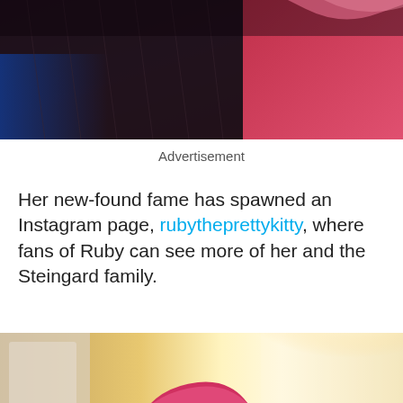[Figure (photo): Close-up photo of a dark-furred cat against a red/pink background, cropped at the top of the page]
Advertisement
Her new-found fame has spawned an Instagram page, rubytheprettykitty, where fans of Ruby can see more of her and the Steingard family.
[Figure (photo): Photo of a dark cat wearing a pink hat/visor, viewed from below, with a bright sunlit room in the background]